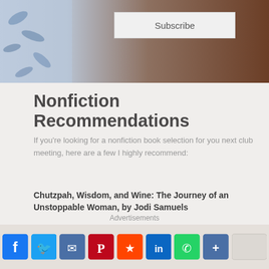[Figure (photo): Top banner image with blue floral pattern on left and brown/wooden surface on right, with a Subscribe button overlay]
Nonfiction Recommendations
If you're looking for a nonfiction book selection for you next club meeting, here are a few I highly recommend:
Chutzpah, Wisdom, and Wine: The Journey of an Unstoppable Woman, by Jodi Samuels
The Girl Who Said Goodbye: A Memoir of a Khmer Rouge Survivor, by the author
Advertisements
[Figure (screenshot): Social media sharing bar with Facebook, Twitter, Email, Pinterest, Reddit, LinkedIn, WhatsApp, and Plus icons]